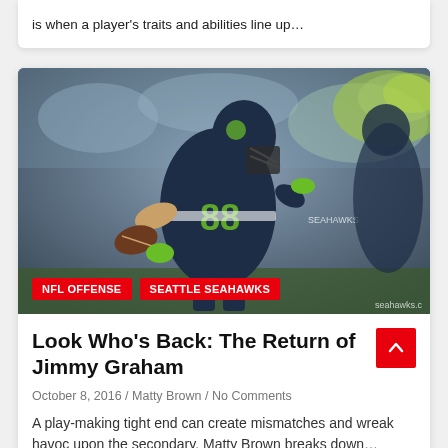is when a player's traits and abilities line up…
[Figure (photo): Seattle Seahawks player #88 Jimmy Graham in navy and neon green uniform running with football]
NFL OFFENSE   SEATTLE SEAHAWKS
Look Who's Back: The Return of Jimmy Graham
October 8, 2016 / Matty Brown / No Comments
A play-making tight end can create mismatches and wreak havoc upon the secondary. Matty Brown breaks down…